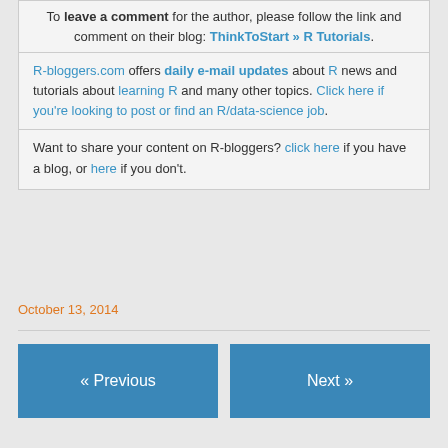To leave a comment for the author, please follow the link and comment on their blog: ThinkToStart » R Tutorials.
R-bloggers.com offers daily e-mail updates about R news and tutorials about learning R and many other topics. Click here if you're looking to post or find an R/data-science job.
Want to share your content on R-bloggers? click here if you have a blog, or here if you don't.
October 13, 2014
« Previous
Next »